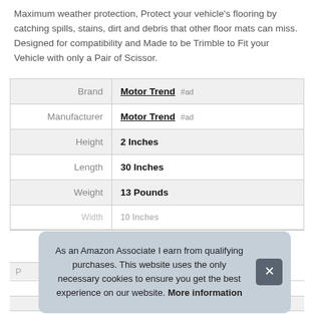Maximum weather protection, Protect your vehicle's flooring by catching spills, stains, dirt and debris that other floor mats can miss. Designed for compatibility and Made to be Trimble to Fit your Vehicle with only a Pair of Scissor.
| Label | Value |
| --- | --- |
| Brand | Motor Trend #ad |
| Manufacturer | Motor Trend #ad |
| Height | 2 Inches |
| Length | 30 Inches |
| Weight | 13 Pounds |
| Width | 10 Inches (partial) |
As an Amazon Associate I earn from qualifying purchases. This website uses the only necessary cookies to ensure you get the best experience on our website. More information